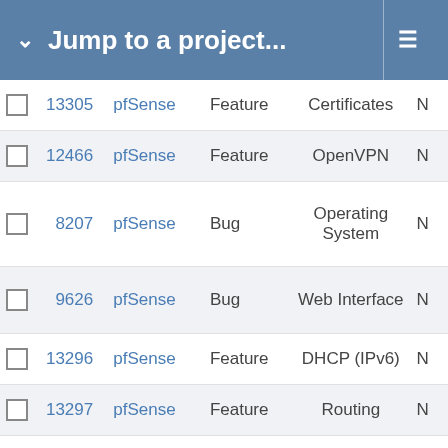Jump to a project...
|  | # | Project | Type | Category |  |
| --- | --- | --- | --- | --- | --- |
| ☐ | 13305 | pfSense | Feature | Certificates | N |
| ☐ | 12466 | pfSense | Feature | OpenVPN | N |
| ☐ | 8207 | pfSense | Bug | Operating System | N |
| ☐ | 9626 | pfSense | Bug | Web Interface | N |
| ☐ | 13296 | pfSense | Feature | DHCP (IPv6) | N |
| ☐ | 13297 | pfSense | Feature | Routing | N |
| ☐ | 13294 | pfSense | Feature | Gateways | N |